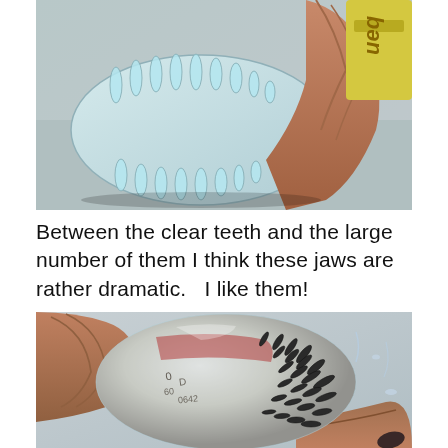[Figure (photo): Close-up photograph of a person holding a set of clear jaw/teeth mold with many sharp clear teeth arranged in rows, against a light background. A yellow-labeled container is visible in the background.]
Between the clear teeth and the large number of them I think these jaws are rather dramatic.   I like them!
[Figure (photo): Close-up photograph of two hands holding a round object wrapped in clear plastic with many dark teeth/spines protruding from it in rows, with text and markings visible through the clear plastic, on a wet surface.]